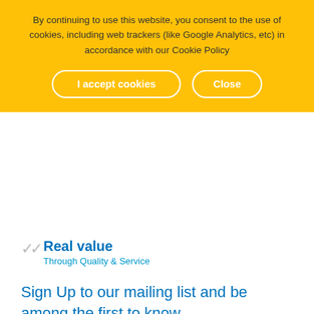By continuing to use this website, you consent to the use of cookies, including web trackers (like Google Analytics, etc) in accordance with our Cookie Policy
I accept cookies
Close
Real value
Through Quality & Service
Sign Up to our mailing list and be among the first to know.
Subscribe to newsletter